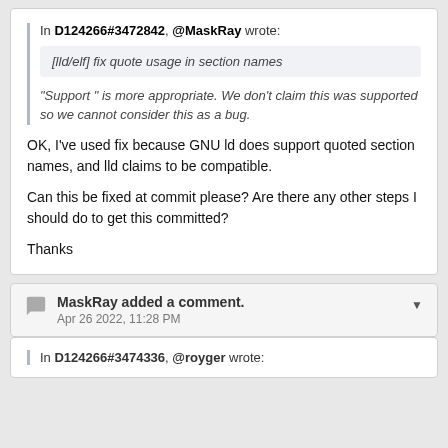In D124266#3472842, @MaskRay wrote:
[lld/elf] fix quote usage in section names
"Support " is more appropriate. We don't claim this was supported so we cannot consider this as a bug.
OK, I've used fix because GNU ld does support quoted section names, and lld claims to be compatible.
Can this be fixed at commit please? Are there any other steps I should do to get this committed?
Thanks
MaskRay added a comment. Apr 26 2022, 11:28 PM
In D124266#3474336, @royger wrote: